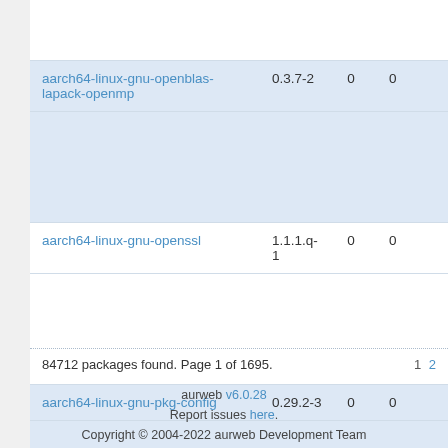| Name | Version | Votes | Popularity |
| --- | --- | --- | --- |
| aarch64-linux-gnu-openblas-lapack-openmp | 0.3.7-2 | 0 | 0 |
| aarch64-linux-gnu-openssl | 1.1.1.q-1 | 0 | 0 |
| aarch64-linux-gnu-pkg-config | 0.29.2-3 | 0 | 0 |
84712 packages found. Page 1 of 1695.
aurweb v6.0.28
Report issues here.
Copyright © 2004-2022 aurweb Development Team
AUR packages are user produced content. Any use of the provided file